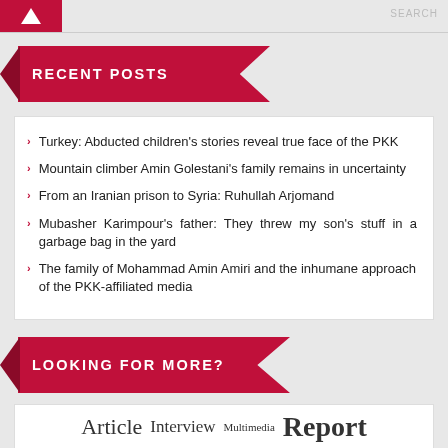SEARCH
RECENT POSTS
Turkey: Abducted children's stories reveal true face of the PKK
Mountain climber Amin Golestani's family remains in uncertainty
From an Iranian prison to Syria: Ruhullah Arjomand
Mubasher Karimpour's father: They threw my son's stuff in a garbage bag in the yard
The family of Mohammad Amin Amiri and the inhumane approach of the PKK-affiliated media
LOOKING FOR MORE?
Article Interview Multimedia Report